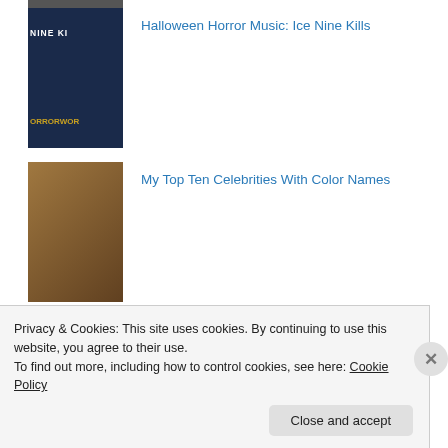[Figure (photo): Partial thumbnail at top (clipped)]
Halloween Horror Music: Ice Nine Kills
[Figure (photo): Ice Nine Kills band thumbnail with dark blue background and text]
My Top Ten Celebrities With Color Names
[Figure (photo): Smiling person celebrity photo thumbnail]
My Top Ten Crazy Ladies In Movies
[Figure (photo): Black and white photo of woman thumbnail]
Privacy & Cookies: This site uses cookies. By continuing to use this website, you agree to their use.
To find out more, including how to control cookies, see here: Cookie Policy
Close and accept